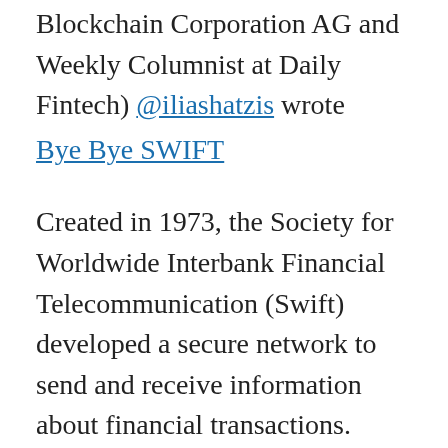Blockchain Corporation AG and Weekly Columnist at Daily Fintech) @iliashatzis wrote Bye Bye SWIFT
Created in 1973, the Society for Worldwide Interbank Financial Telecommunication (Swift) developed a secure network to send and receive information about financial transactions. Today it's used by more than 11,000 financial institutions in 212 different countries. More than $5 trillion go through Swift's network every day. As you can expect, several projects and companies around the world are trying to compete Swift. With